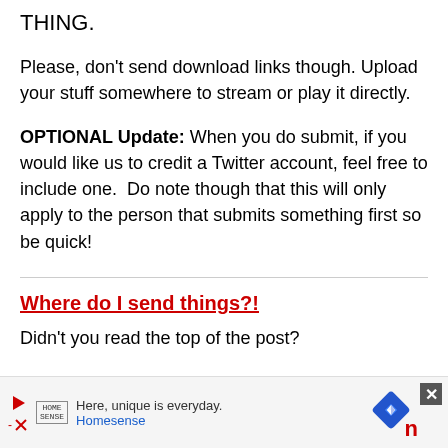THING.
Please, don't send download links though. Upload your stuff somewhere to stream or play it directly.
OPTIONAL Update: When you do submit, if you would like us to credit a Twitter account, feel free to include one.  Do note though that this will only apply to the person that submits something first so be quick!
Where do I send things?!
Didn't you read the top of the post?
[Figure (other): Advertisement banner for Homesense with play button, logo, tagline 'Here, unique is everyday.', a blue diamond navigation icon, and a close button.]